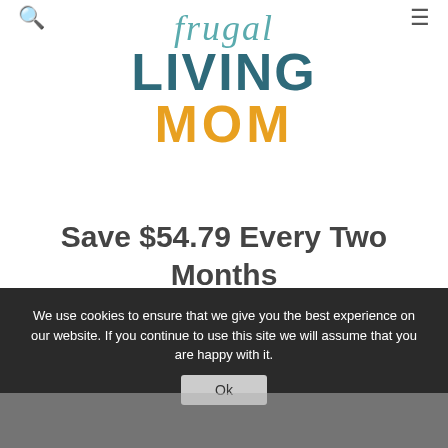Frugal Living Mom — search and menu icons
[Figure (logo): Frugal Living Mom logo: 'frugal' in teal italic script, 'LIVING' in dark teal bold uppercase, 'MOM' in orange bold uppercase]
Save $54.79 Every Two Months By Skipping the Dry Cleaners!
[Figure (infographic): Row of five social share buttons: Twitter (blue bird), Pinterest (red P), Facebook (dark blue f), Google+ (red g+), Email (grey envelope)]
We use cookies to ensure that we give you the best experience on our website. If you continue to use this site we will assume that you are happy with it.
Ok